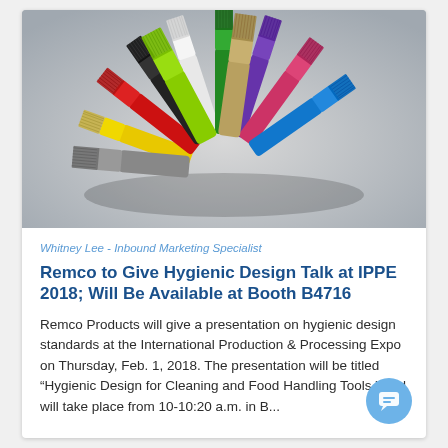[Figure (photo): Array of colorful cleaning brushes fanned out in a circle on a light gray background, showing various colors including red, yellow, gray, green, tan, blue, pink, purple, white, and black.]
Whitney Lee - Inbound Marketing Specialist
Remco to Give Hygienic Design Talk at IPPE 2018; Will Be Available at Booth B4716
Remco Products will give a presentation on hygienic design standards at the International Production & Processing Expo on Thursday, Feb. 1, 2018. The presentation will be titled “Hygienic Design for Cleaning and Food Handling Tools,” and will take place from 10-10:20 a.m. in B...